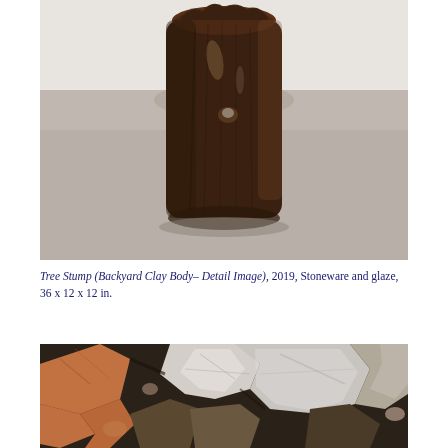[Figure (photo): A dark brown glazed stoneware sculpture resembling a tree stump, photographed on a grey concrete floor with a white wall background. The sculpture is roughly cylindrical with textured surface details.]
Tree Stump (Backyard Clay Body– Detail Image), 2019, Stoneware and glaze, 36 x 12 x 12 in.
[Figure (photo): Close-up photo of fragmented rock, clay and earth materials — reddish stones, dark soil, and grey-white mineral chunks scattered together.]